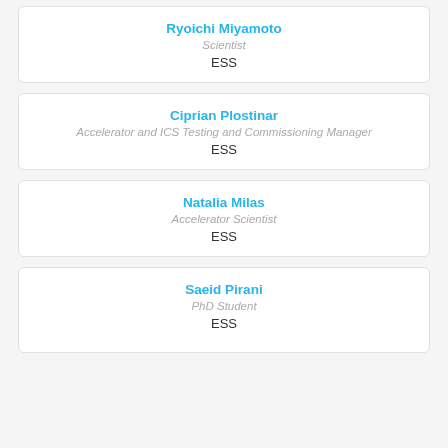Ryoichi Miyamoto
Scientist
ESS
Ciprian Plostinar
Accelerator and ICS Testing and Commissioning Manager
ESS
Natalia Milas
Accelerator Scientist
ESS
Saeid Pirani
PhD Student
ESS